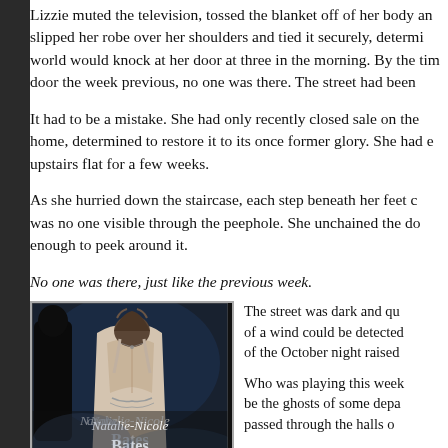Lizzie muted the television, tossed the blanket off of her body and slipped her robe over her shoulders and tied it securely, determined world would knock at her door at three in the morning. By the time door the week previous, no one was there. The street had been
It had to be a mistake. She had only recently closed sale on the home, determined to restore it to its once former glory. She had upstairs flat for a few weeks.
As she hurried down the staircase, each step beneath her feet was no one visible through the peephole. She unchained the door enough to peek around it.
No one was there, just like the previous week.
[Figure (illustration): Book cover for a novel by Natalie-Nicole Bates, showing a woman in a backless dress with a man in shadow, dark moody tones, black and white style]
The street was dark and quiet, not even a hint of a wind could be detected. The chill of the October night raised
Who was playing this wicked game? Could it be the ghosts of some departed soul who had passed through the halls of